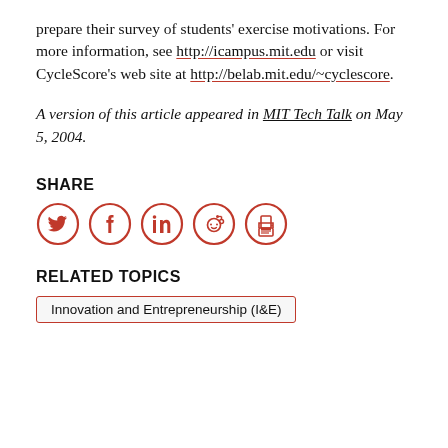prepare their survey of students' exercise motivations. For more information, see http://icampus.mit.edu or visit CycleScore's web site at http://belab.mit.edu/~cyclescore.
A version of this article appeared in MIT Tech Talk on May 5, 2004.
SHARE
[Figure (infographic): Five social share icon circles in red outline: Twitter, Facebook, LinkedIn, Reddit, Print]
RELATED TOPICS
Innovation and Entrepreneurship (I&E)